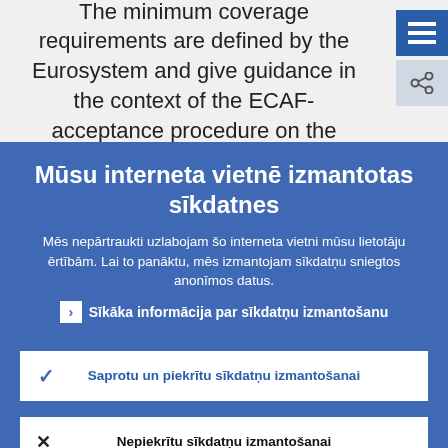The minimum coverage requirements are defined by the Eurosystem and give guidance in the context of the ECAF-acceptance procedure on the
Mūsu interneta vietnē izmantotas sīkdatnes
Mēs nepārtraukti uzlabojam šo interneta vietni mūsu lietotāju ērtībām. Lai to panāktu, mēs izmantojam sīkdatņu sniegtos anonīmos datus.
▶ Sīkāka informācija par sīkdatņu izmantošanu
✓ Saprotu un piekrītu sīkdatņu izmantošanai
✗ Nepiekrītu sīkdatņu izmantošanai